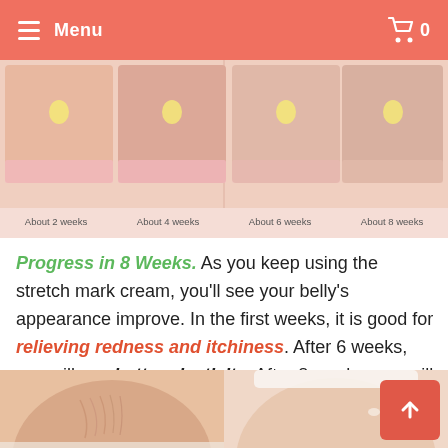Menu  0
[Figure (photo): Before/after progress strip showing belly skin at About 2 weeks, About 4 weeks, About 6 weeks, About 8 weeks of stretch mark cream use]
Progress in 8 Weeks. As you keep using the stretch mark cream, you'll see your belly's appearance improve. In the first weeks, it is good for relieving redness and itchiness. After 6 weeks, you will see better elasticity. After 8 weeks, you will notice stretch mark removal and the skin will look greatly improved.
[Figure (photo): Two-panel photo showing pregnant belly with stretch marks (left) and smooth pregnant belly (right)]